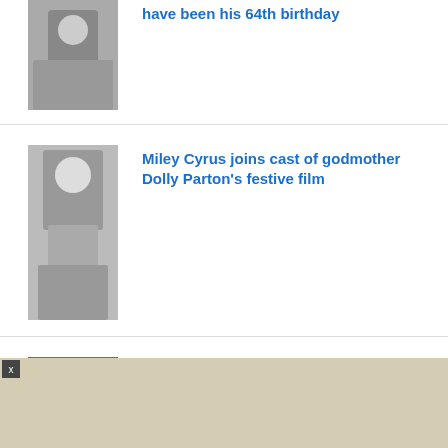[Figure (photo): Photo of two people, partial view at top]
have been his 64th birthday
[Figure (photo): Miley Cyrus at an event wearing a patterned suit]
Miley Cyrus joins cast of godmother Dolly Parton's festive film
[Figure (photo): Ghislaine Maxwell wearing winter hat and coat outdoors]
Ghislaine Maxwell 'Is Best Friends' With Double Murderer Narcy Novak In Low-Security Florida Prison